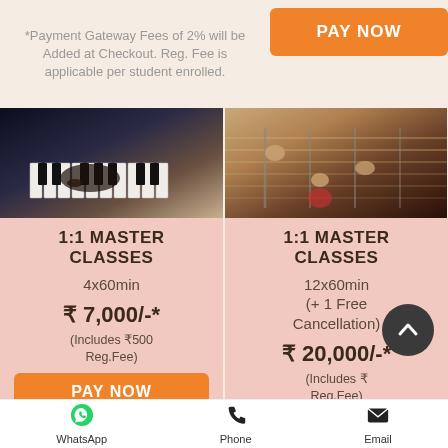*Payment Gateway Fees of 2% will be Added at Checkout. Reg. Fee is applicable per student enrolled.
[Figure (screenshot): Orange PAY NOW button]
[Figure (photo): Piano keys being played]
1:1 MASTER CLASSES
4x60min
₹ 7,000/-*
(Includes ₹500 Reg.Fee)
[Figure (photo): Guitar being played]
1:1 MASTER CLASSES
12x60min (+ 1 Free Cancellation)
₹ 20,000/-*
(Includes ₹ Reg.Fee)
WhatsApp  Phone  Email